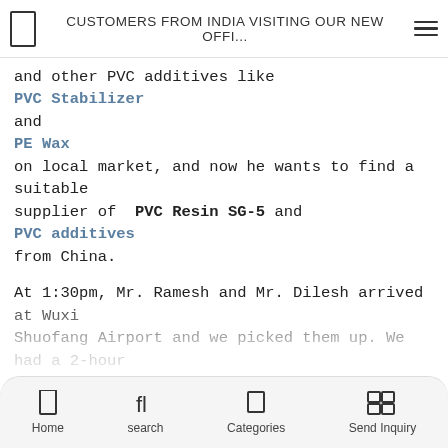CUSTOMERS FROM INDIA VISITING OUR NEW OFFI...
and other PVC additives like
PVC Stabilizer
and
PE Wax
on local market, and now he wants to find a suitable supplier of PVC Resin SG-5 and
PVC additives
from China.

At 1:30pm, Mr. Ramesh and Mr. Dilesh arrived at Wuxi Shuofang Airport and we picked them up. We had a 2-hour meeting in our new office. During the meeting, we exchanged all concerning issues about the price, quality, minimum order, payment term and delivery time, etc. Finally, we had an agreement with each other. After checking the customs clearance issues with their agents when they go back to India, they will place an order of 1×20 FCL for the... believe this will have long term business cooperation with each...this in the...
Home  search  Categories  Send Inquiry